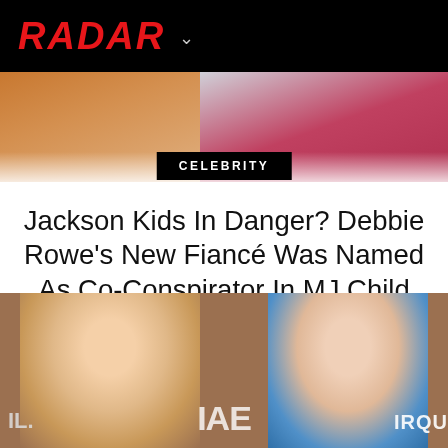RADAR
[Figure (photo): Top portion of article page showing partial photos of people behind the headline]
CELEBRITY
Jackson Kids In Danger? Debbie Rowe's New Fiancé Was Named As Co-Conspirator In MJ Child Molestation Indictment — PLUS His Secret Gay Porn Past Revealed!
[Figure (photo): Photo of two young people, likely Paris Jackson and Prince Michael Jackson, at an event with Cirque du Soleil signage visible]